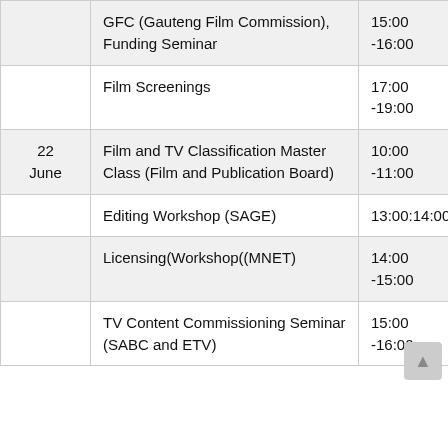| Date | Event | Time |
| --- | --- | --- |
|  | GFC (Gauteng Film Commission), Funding Seminar | 15:00 -16:00 |
|  | Film Screenings | 17:00 -19:00 |
| 22 June | Film and TV Classification Master Class (Film and Publication Board) | 10:00 -11:00 |
|  | Editing Workshop (SAGE) | 13:00:14:00 |
|  | Licensing(Workshop((MNET) | 14:00 -15:00 |
|  | TV Content Commissioning Seminar (SABC and ETV) | 15:00 -16:00 |